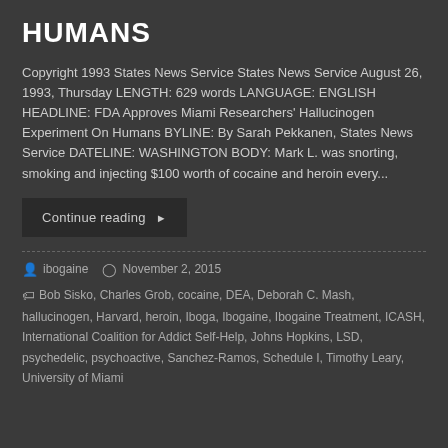HUMANS
Copyright 1993 States News Service States News Service August 26, 1993, Thursday LENGTH: 629 words LANGUAGE: ENGLISH HEADLINE: FDA Approves Miami Researchers' Hallucinogen Experiment On Humans BYLINE: By Sarah Pekkanen, States News Service DATELINE: WASHINGTON BODY: Mark L. was snorting, smoking and injecting $100 worth of cocaine and heroin every...
Continue reading ▶
ibogaine   November 2, 2015
Bob Sisko, Charles Grob, cocaine, DEA, Deborah C. Mash, hallucinogen, Harvard, heroin, Iboga, Ibogaine, Ibogaine Treatment, ICASH, International Coalition for Addict Self-Help, Johns Hopkins, LSD, psychedelic, psychoactive, Sanchez-Ramos, Schedule I, Timothy Leary, University of Miami